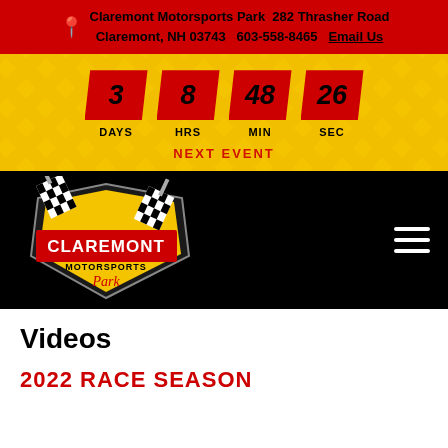Claremont Motorsports Park  282 Thrasher Road Claremont, NH 03743  603-558-8465  Email Us
[Figure (infographic): Countdown timer showing 3 DAYS, 8 HRS, 48 MIN, 26 SEC on red parallelogram tiles against a yellow checkered background]
[Figure (logo): Claremont Motorsports Park logo with checkered flags on black navigation bar]
Videos
2022 RACE SEASON